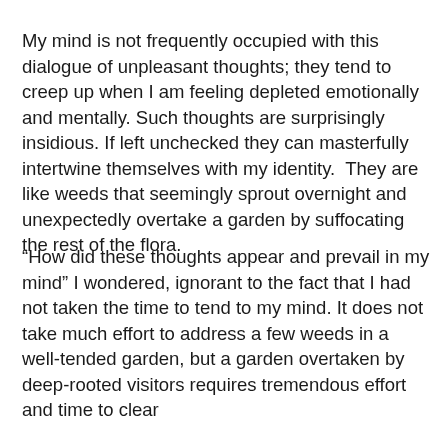My mind is not frequently occupied with this dialogue of unpleasant thoughts; they tend to creep up when I am feeling depleted emotionally and mentally. Such thoughts are surprisingly insidious. If left unchecked they can masterfully intertwine themselves with my identity.  They are like weeds that seemingly sprout overnight and unexpectedly overtake a garden by suffocating the rest of the flora.
“How did these thoughts appear and prevail in my mind” I wondered, ignorant to the fact that I had not taken the time to tend to my mind. It does not take much effort to address a few weeds in a well-tended garden, but a garden overtaken by deep-rooted visitors requires tremendous effort and time to clear